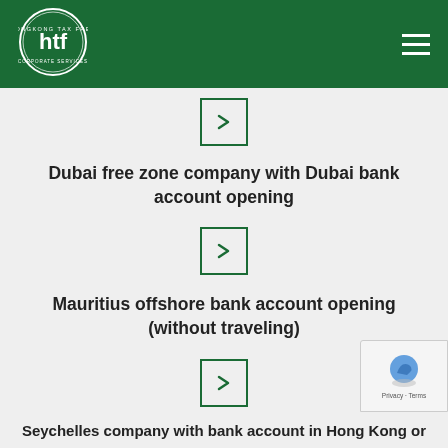[Figure (logo): HTF Hong Kong Tax Free Corporate Services circular logo in white on dark green background]
[Figure (other): Hamburger menu icon (three white horizontal lines) in top right of green header]
[Figure (other): Green bordered arrow button (chevron right) at top of content area]
Dubai free zone company with Dubai bank account opening
[Figure (other): Green bordered arrow button (chevron right) below Dubai title]
Mauritius offshore bank account opening (without traveling)
[Figure (other): Green bordered arrow button (chevron right) below Mauritius title]
Seychelles company with bank account in Hong Kong or
[Figure (other): reCAPTCHA privacy badge in bottom right corner]